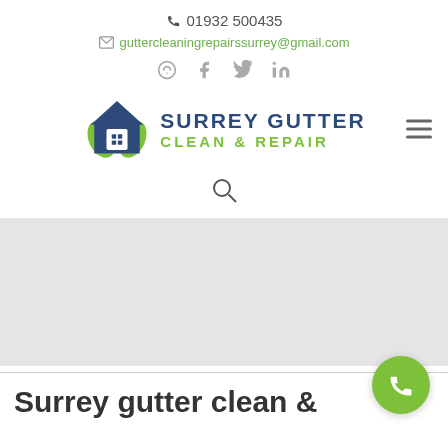📞 01932 500435
✉ guttercleaningrepairssurrey@gmail.com
[Figure (logo): Surrey Gutter Clean & Repair logo with house icon and green hands]
[Figure (other): Search icon (magnifying glass)]
[Figure (photo): Light grey hero banner section]
Surrey gutter clean &